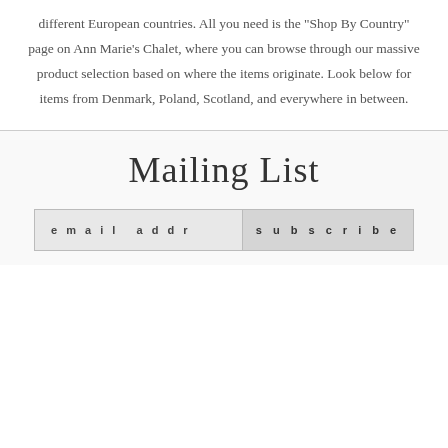different European countries. All you need is the "Shop By Country" page on Ann Marie's Chalet, where you can browse through our massive product selection based on where the items originate. Look below for items from Denmark, Poland, Scotland, and everywhere in between.
Mailing List
email addr
subscribe